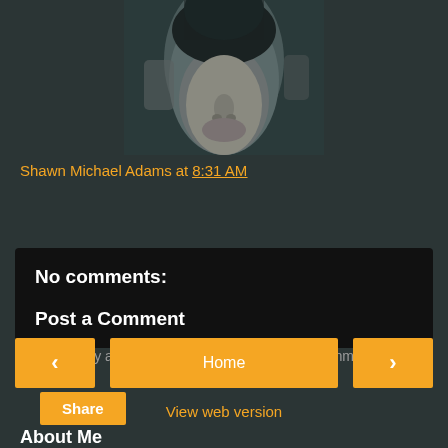[Figure (photo): Close-up photo of a man's face, partially visible from nose up, against a dark teal/grey background]
Shawn Michael Adams at 8:31 AM
Share
No comments:
Post a Comment
Note: Only a member of this blog may post a comment.
< Home >
View web version
About Me